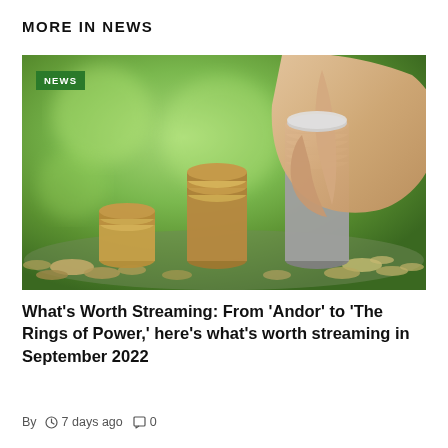MORE IN NEWS
[Figure (photo): Hand placing a coin on top of stacked coins over a pile of coins, green blurred background — financial savings concept. Green NEWS badge overlay in top left.]
What's Worth Streaming: From ‘Andor’ to ‘The Rings of Power,’ here’s what’s worth streaming in September 2022
By  ⏰ 7 days ago  □ 0